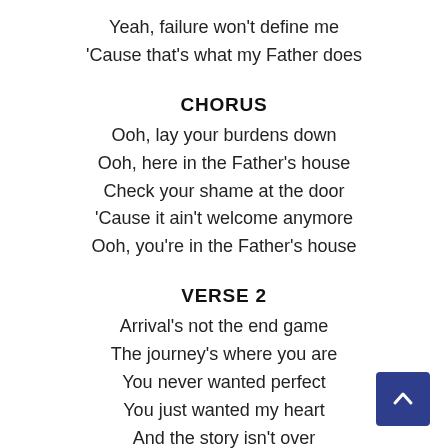Yeah, failure won't define me
'Cause that's what my Father does
CHORUS
Ooh, lay your burdens down
Ooh, here in the Father's house
Check your shame at the door
'Cause it ain't welcome anymore
Ooh, you're in the Father's house
VERSE 2
Arrival's not the end game
The journey's where you are
You never wanted perfect
You just wanted my heart
And the story isn't over